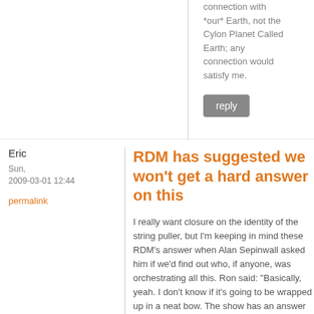connection with *our* Earth, not the Cylon Planet Called Earth; any connection would satisfy me.
reply
Eric
Sun, 2009-03-01 12:44
permalink
RDM has suggested we won't get a hard answer on this
I really want closure on the identity of the string puller, but I'm keeping in mind these RDM's answer when Alan Sepinwall asked him if we'd find out who, if anyone, was orchestrating all this. Ron said: "Basically, yeah. I don't know if it's going to be wrapped up in a neat bow. The show has an answer for it, whether it's a satisfying answer, I don't know." (interview here)